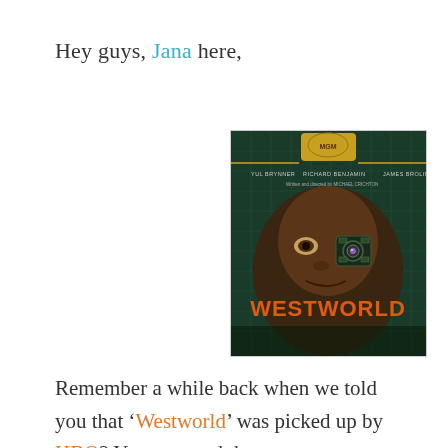Hey guys, Jana here,
[Figure (photo): Westworld movie DVD cover featuring Yul Brynner with a robotic eye, with cast names Yul Brynner, Richard Benjamin, James Brolin and title WESTWORLD in orange letters, MGM logo at top]
Remember a while back when we told you that 'Westworld' was picked up by HBO? You can read that